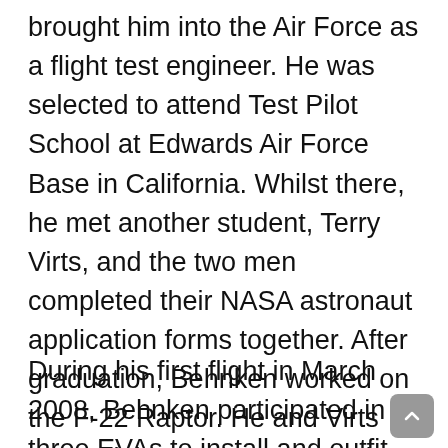brought him into the Air Force as a flight test engineer. He was selected to attend Test Pilot School at Edwards Air Force Base in California. Whilst there, he met another student, Terry Virts, and the two men completed their NASA astronaut application forms together. After graduation, Behnken worked on the F-22 Raptor. He and Virts entered the astronaut corps in July 2000. In September 2006, he participated in one of NASA's Extreme Environment Mission Operations (NEEMO) undersea training expeditions and in January 2007 was assigned as a Mission Specialist for STS-123.
During his first flight in March 2008, Behnken participated in three EVAs to install and outfit the